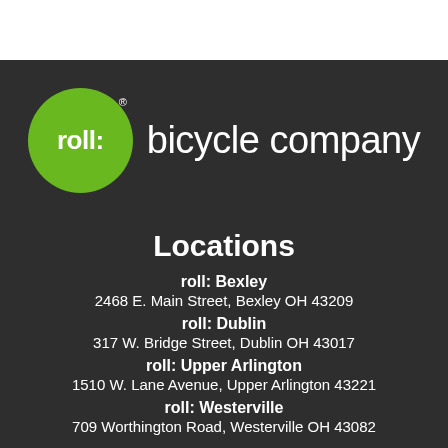[Figure (logo): Roll: Bicycle Company logo — green circle with 'roll:' text in white, followed by 'bicycle company' in white text on dark background]
Locations
roll: Bexley
2468 E. Main Street, Bexley OH 43209
roll: Dublin
317 W. Bridge Street, Dublin OH 43017
roll: Upper Arlington
1510 W. Lane Avenue, Upper Arlington 43221
roll: Westerville
709 Worthington Road, Westerville OH 43082